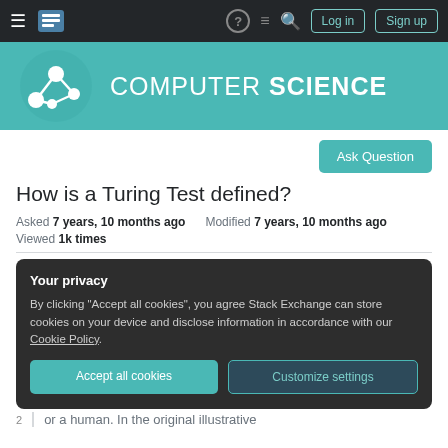Computer Science Stack Exchange – navigation bar with Log in and Sign up buttons
[Figure (logo): Computer Science Stack Exchange logo – teal banner with network graph icon and text COMPUTER SCIENCE]
Ask Question
How is a Turing Test defined?
Asked 7 years, 10 months ago   Modified 7 years, 10 months ago
Viewed 1k times
Your privacy
By clicking "Accept all cookies", you agree Stack Exchange can store cookies on your device and disclose information in accordance with our Cookie Policy.
Accept all cookies   Customize settings
or a human. In the original illustrative